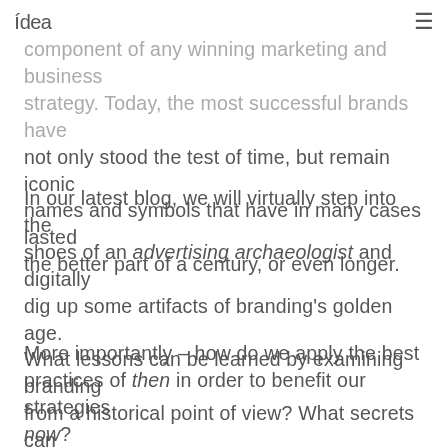idea  ≡
component of any winning marketing and business strategy. Today, the most successful brands have not only stood the test of time, but remain iconic names and symbols that have in many cases lasted the better part of a century, or even longer.
In our latest blog, we will virtually step into the shoes of an advertising archaeologist and digitally dig up some artifacts of branding's golden age. What lessons can be learned by examining branding from a historical point of view? What secrets can we unlock by delving into the past?
More importantly – how do we apply the best practices of then in order to benefit our strategies now?